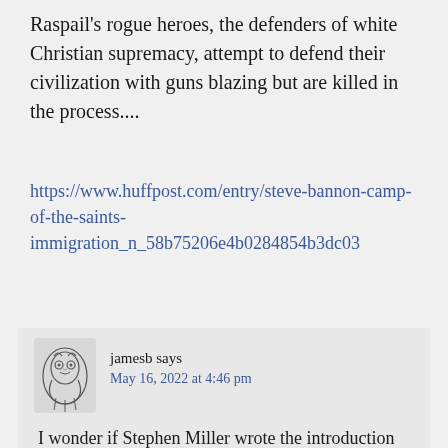Raspail's rogue heroes, the defenders of white Christian supremacy, attempt to defend their civilization with guns blazing but are killed in the process....
https://www.huffpost.com/entry/steve-bannon-camp-of-the-saints-immigration_n_58b75206e4b0284854b3dc03
jamesb says
May 16, 2022 at 4:46 pm

I wonder if Stephen Miller wrote the introduction for the damn book?